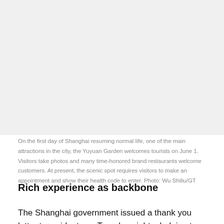[Figure (photo): Photo area showing Yuyuan Garden on June 1, first day of Shanghai resuming normal life]
On the first day of Shanghai resuming normal life, one of the main attractions in the city, the Yuyuan Garden welcomes tourists on June 1. Visitors take photos and many time-honored brand restaurants welcome customers. At present, the scenic spot requires visitors to make an appointment and show their health code to enter. Photo: Wu Shiliu/GT
Rich experience as backbone
The Shanghai government issued a thank you letter to residents on Tuesday night, pledging to "spare no effort to